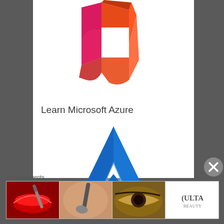[Figure (logo): Microsoft Office logo - abstract colored flag shape in red, orange, magenta tones on white background]
Learn Microsoft Azure
[Figure (logo): Microsoft Azure logo - blue geometric letter A shape made of two angular pieces]
Advertisements
[Figure (other): Advertisement banner showing beauty/makeup images including lips, makeup brush, eye, Ulta Beauty logo, eyes closeup, and Shop Now button]